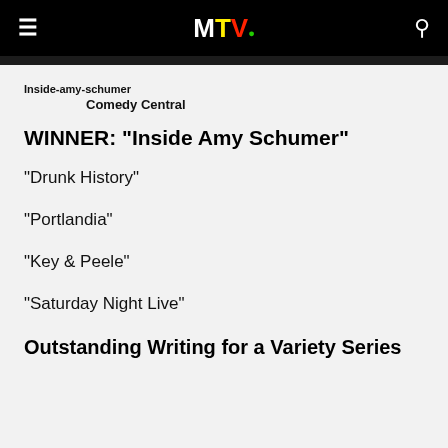MTV
Inside-amy-schumer
Comedy Central
WINNER: "Inside Amy Schumer"
"Drunk History"
"Portlandia"
"Key & Peele"
"Saturday Night Live"
Outstanding Writing for a Variety Series